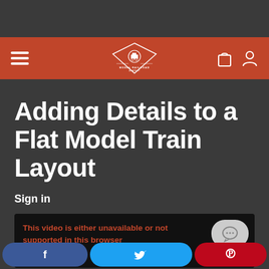Model Railroad Academy
Adding Details to a Flat Model Train Layout
Sign in
[Figure (screenshot): Video player area showing error message: 'This video is either unavailable or not supported in this browser']
Share buttons: Facebook, Twitter, Pinterest